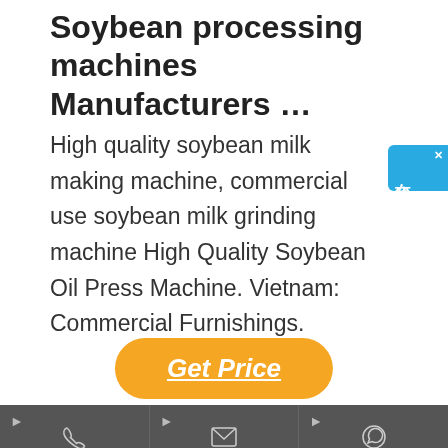Soybean processing machines Manufacturers …
High quality soybean milk making machine, commercial use soybean milk grinding machine High Quality Soybean Oil Press Machine. Vietnam: Commercial Furnishings.
[Figure (other): Blue chat widget on right side with Chinese characters reading 在线咨询 (online consultation) and a close X button]
[Figure (other): Orange pill-shaped Get Price button with underlined italic white text]
[Figure (other): Dark gray footer bar with three columns: Phone (phone icon), Email (envelope icon), Whatsapp (WhatsApp icon), each with a right-pointing arrow in the top-left corner]